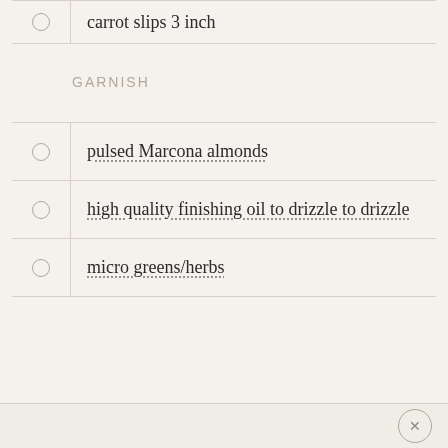carrot slips 3 inch
GARNISH
pulsed Marcona almonds
high quality finishing oil to drizzle to drizzle
micro greens/herbs